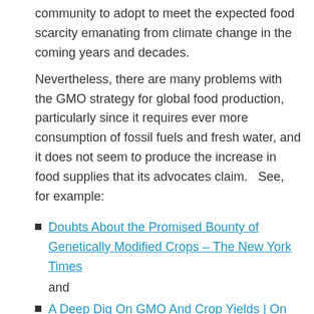community to adopt to meet the expected food scarcity emanating from climate change in the coming years and decades. Nevertheless, there are many problems with the GMO strategy for global food production, particularly since it requires ever more consumption of fossil fuels and fresh water, and it does not seem to produce the increase in food supplies that its advocates claim.   See, for example:
Doubts About the Promised Bounty of Genetically Modified Crops – The New York Times
and
A Deep Dig On GMO And Crop Yields | On Point
See also the major U.N. Report that was published